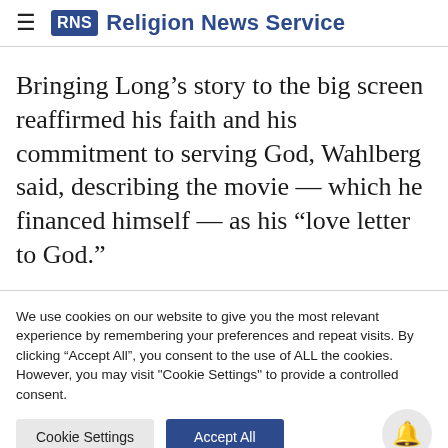RNS Religion News Service
Bringing Long’s story to the big screen reaffirmed his faith and his commitment to serving God, Wahlberg said, describing the movie — which he financed himself — as his “love letter to God.”
We use cookies on our website to give you the most relevant experience by remembering your preferences and repeat visits. By clicking “Accept All”, you consent to the use of ALL the cookies. However, you may visit "Cookie Settings" to provide a controlled consent.
Cookie Settings | Accept All